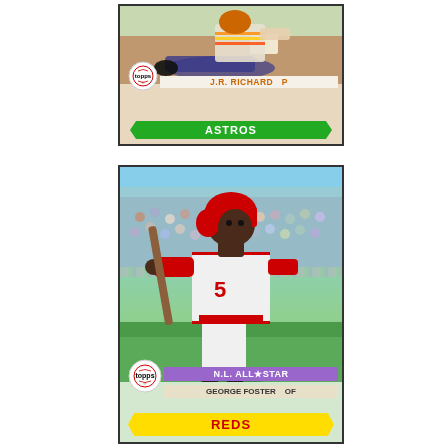[Figure (photo): 1979 Topps baseball card of J.R. Richard, pitcher for the Houston Astros. Shows a sliding action photo. Card includes Topps logo, player name 'J.R. RICHARD P', and green pennant banner reading 'ASTROS'.]
[Figure (photo): 1979 Topps baseball card of George Foster, outfielder for the Cincinnati Reds. N.L. All-Star designation. Shows Foster in batting stance wearing red helmet and white Reds uniform. Card includes Topps logo, purple 'N.L. ALL*STAR' banner, player name 'GEORGE FOSTER OF', and yellow pennant banner reading 'REDS' in red letters.]